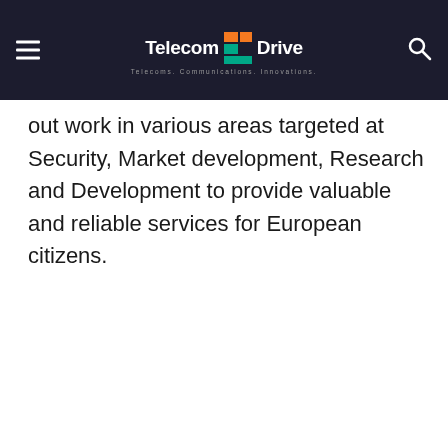TelecomDrive — Telecoms. Communications. Innovations.
out work in various areas targeted at Security, Market development, Research and Development to provide valuable and reliable services for European citizens.